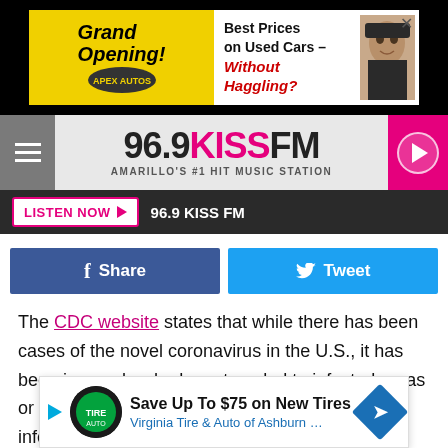[Figure (screenshot): Advertisement banner: Grand Opening car dealership ad on left (yellow background), Best Prices on Used Cars Without Haggling on right with man's face]
96.9 KISS FM — AMARILLO'S #1 HIT MUSIC STATION
LISTEN NOW ▶  96.9 KISS FM
[Figure (screenshot): Share on Facebook button (dark blue) and Tweet button (light blue)]
The CDC website states that while there has been cases of the novel coronavirus in the U.S., it has been in people who have traveled to infected areas or who have had close contact to someone infected. At this time, it's not "spreading in the community in the United States."
While t... it is import... safe
[Figure (screenshot): Ad overlay: Save Up To $75 on New Tires — Virginia Tire & Auto of Ashburn ...]